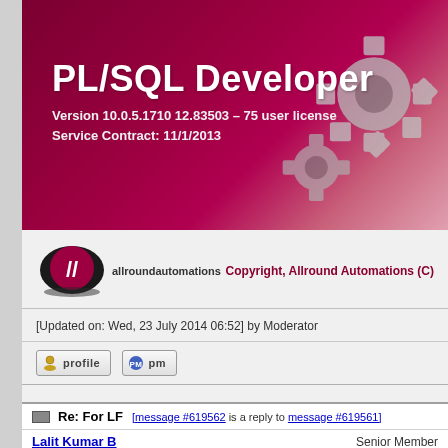[Figure (screenshot): PL/SQL Developer application banner with dark red/crimson gradient background and gear decorations on the right]
PL/SQL Developer
Version 10.0.5.1710  12.83503 – 75 user license
Service Contract: 11/1/2013
[Figure (logo): Allround Automations logo - circular red logo with stylized 'A' and double slash]
allroundautomations
Copyright, Allround Automations (C)
[Updated on: Wed, 23 July 2014 06:52] by Moderator
profile   pm
Re: For LF [message #619562 is a reply to message #619561]
Lalit Kumar B    Senior Member
Messages: 3174